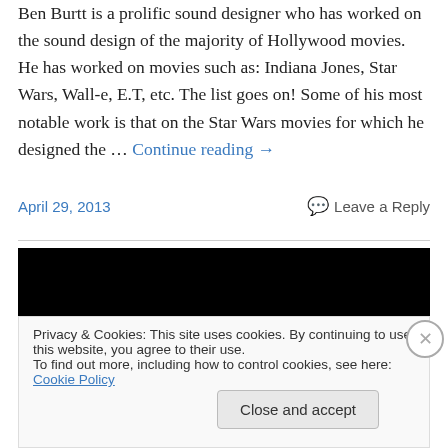Ben Burtt is a prolific sound designer who has worked on the sound design of the majority of Hollywood movies. He has worked on movies such as: Indiana Jones, Star Wars, Wall-e, E.T, etc. The list goes on! Some of his most notable work is that on the Star Wars movies for which he designed the … Continue reading →
April 29, 2013    Leave a Reply
[Figure (screenshot): Black video/media player bar]
Privacy & Cookies: This site uses cookies. By continuing to use this website, you agree to their use.
To find out more, including how to control cookies, see here: Cookie Policy
Close and accept